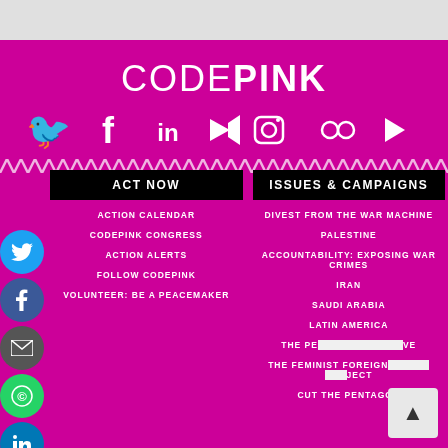[Figure (logo): CODEPINK logo in white text on magenta background]
[Figure (infographic): Social media icons: Twitter, Facebook, LinkedIn, Mute/video, Instagram, Flickr, YouTube - white icons on magenta]
ACT NOW
ACTION CALENDAR
CODEPINK CONGRESS
ACTION ALERTS
FOLLOW CODEPINK
VOLUNTEER: BE A PEACEMAKER
ISSUES & CAMPAIGNS
DIVEST FROM THE WAR MACHINE
PALESTINE
ACCOUNTABILITY: EXPOSING WAR CRIMES
IRAN
SAUDI ARABIA
LATIN AMERICA
THE PE[NTAGON] [INITIATI]VE
THE FEMINIST FOREIGN [POLICY PRO]JECT
CUT THE PENTAGON